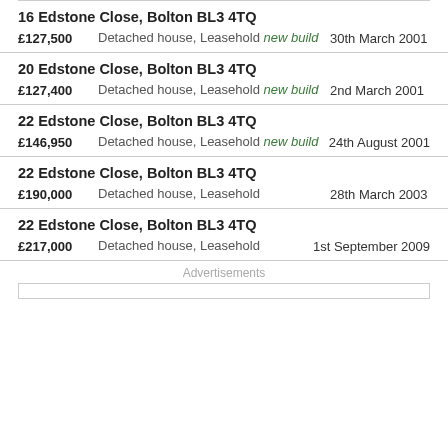16 Edstone Close, Bolton BL3 4TQ | £127,500 | Detached house, Leasehold new build | 30th March 2001
20 Edstone Close, Bolton BL3 4TQ | £127,400 | Detached house, Leasehold new build | 2nd March 2001
22 Edstone Close, Bolton BL3 4TQ | £146,950 | Detached house, Leasehold new build | 24th August 2001
22 Edstone Close, Bolton BL3 4TQ | £190,000 | Detached house, Leasehold | 28th March 2003
22 Edstone Close, Bolton BL3 4TQ | £217,000 | Detached house, Leasehold | 1st September 2009
Advertisements